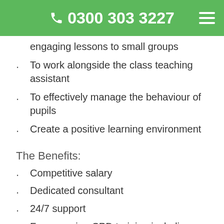📞 0300 303 3227
engaging lessons to small groups
To work alongside the class teaching assistant
To effectively manage the behaviour of pupils
Create a positive learning environment
The Benefits:
Competitive salary
Dedicated consultant
24/7 support
Free ongoing CPD training including